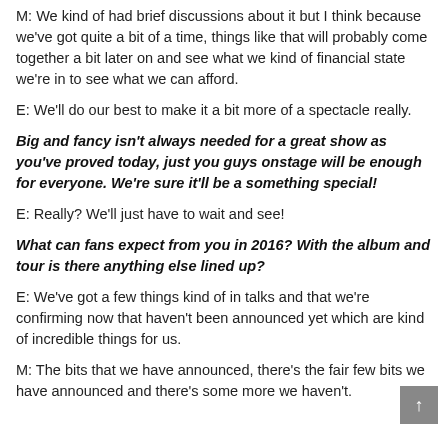M: We kind of had brief discussions about it but I think because we've got quite a bit of a time, things like that will probably come together a bit later on and see what we kind of financial state we're in to see what we can afford.
E: We'll do our best to make it a bit more of a spectacle really.
Big and fancy isn't always needed for a great show as you've proved today, just you guys onstage will be enough for everyone. We're sure it'll be a something special!
E: Really? We'll just have to wait and see!
What can fans expect from you in 2016? With the album and tour is there anything else lined up?
E: We've got a few things kind of in talks and that we're confirming now that haven't been announced yet which are kind of incredible things for us.
M: The bits that we have announced, there's the fair few bits we have announced and there's some more we haven't.